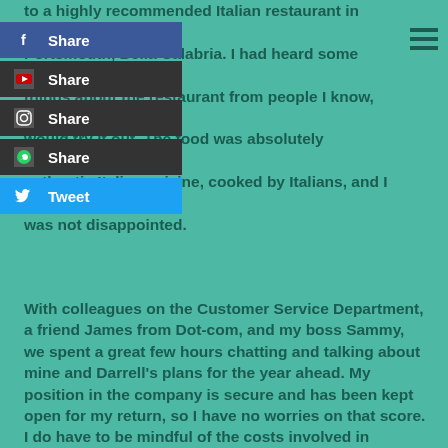to a highly recommended Italian restaurant in North End, Portsmouth, Bella Calabria. I had heard some great things about the restaurant from people I know, so thought I would try it out. The food was absolutely delicious. This was authentic Italian cuisine, cooked by Italians, and I personally was not disappointed.
[Figure (screenshot): Social media share buttons panel: Facebook Share, YouTube Share, Instagram Share, WhatsApp Share, Twitter Tweet]
With colleagues on the Customer Service Department, a friend James from Dot-com, and my boss Sammy, we spent a great few hours chatting and talking about mine and Darrell's plans for the year ahead. My position in the company is secure and has been kept open for my return, so I have no worries on that score. I do have to be mindful of the costs involved in circumnavigating the World; it isn't cheap. With no income for the next twelve months, it is important I budget as much as I can. Living within ones means while travelling is a bit of a tall order, but I am well-used to stretching the cash these days, so I am confident I have everything in place to ensure we have an amazing adventure.